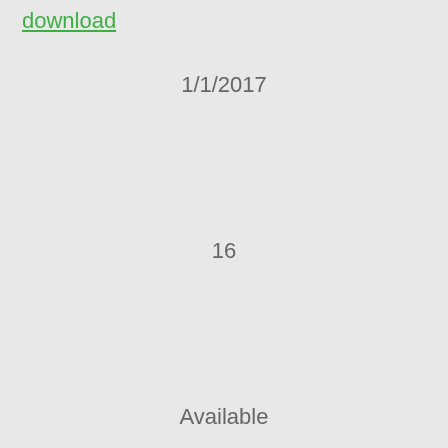download
1/1/2017
16
Available
294
5
220